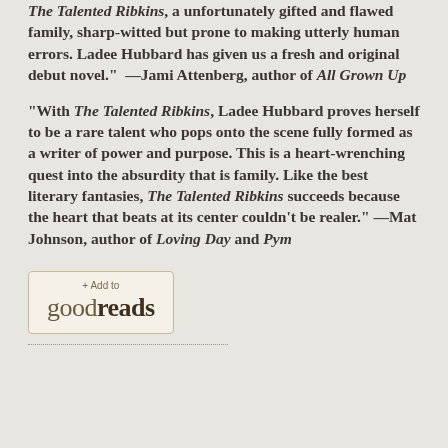With The Talented Ribkins, a unfortunately gifted and flawed family, sharp-witted but prone to making utterly human errors. Ladee Hubbard has given us a fresh and original debut novel." —Jami Attenberg, author of All Grown Up
"With The Talented Ribkins, Ladee Hubbard proves herself to be a rare talent who pops onto the scene fully formed as a writer of power and purpose. This is a heart-wrenching quest into the absurdity that is family. Like the best literary fantasies, The Talented Ribkins succeeds because the heart that beats at its center couldn't be realer." —Mat Johnson, author of Loving Day and Pym
[Figure (logo): Goodreads + Add to goodreads button/badge]